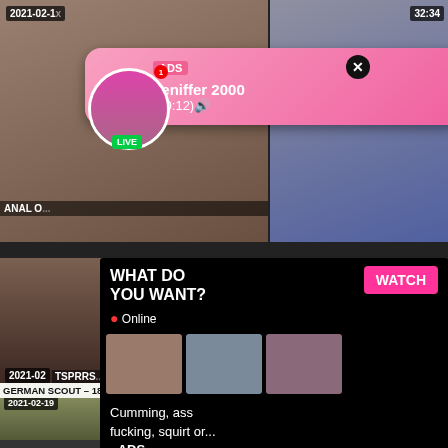[Figure (screenshot): Adult video website screenshot showing video thumbnails grid with overlay advertisements. Top-left thumbnail shows adult content dated 2021-02-1x with label 'ANAL O...', top-right thumbnail shows adult content with timestamp 32:34. An ad popup overlay shows a live cam user 'Jeniffer 2000' with '(00:12)' and LIVE badge. A second overlay panel shows 'WHAT DO YOU WANT?' with 'Online' indicator, thumbnail previews, text 'Cumming, ass fucking, squirt or... • ADS', and a pink WATCH button. Bottom-left thumbnail dated 2021-02-19 shows 'GERMAN SCOUT - 18yo TEEN', timestamp 12:15. Bottom-right shows 'Brianna Love & Stephanie Swift in', dated 2016-03-23, timestamp 6:13. A partial bottom row is visible.]